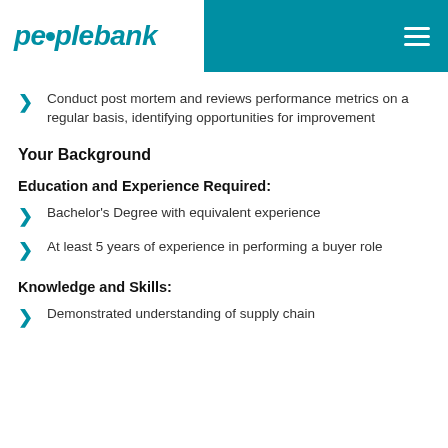peoplebank
Conduct post mortem and reviews performance metrics on a regular basis, identifying opportunities for improvement
Your Background
Education and Experience Required:
Bachelor's Degree with equivalent experience
At least 5 years of experience in performing a buyer role
Knowledge and Skills:
Demonstrated understanding of supply chain